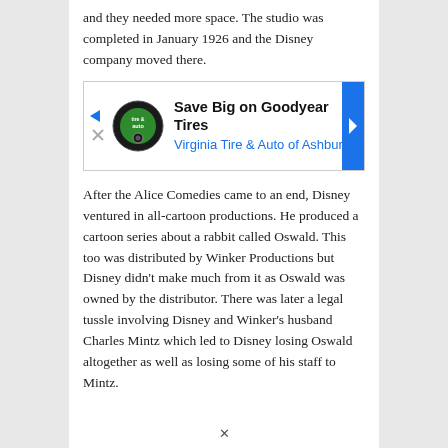and they needed more space. The studio was completed in January 1926 and the Disney company moved there.
[Figure (other): Advertisement banner: Save Big on Goodyear Tires - Virginia Tire & Auto of Ashburn]
After the Alice Comedies came to an end, Disney ventured in all-cartoon productions. He produced a cartoon series about a rabbit called Oswald. This too was distributed by Winker Productions but Disney didn't make much from it as Oswald was owned by the distributor. There was later a legal tussle involving Disney and Winker's husband Charles Mintz which led to Disney losing Oswald altogether as well as losing some of his staff to Mintz.